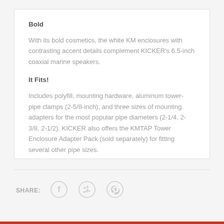Bold
With its bold cosmetics, the white KM enclosures with contrasting accent details complement KICKER's 6.5-inch coaxial marine speakers.
It Fits!
Includes polyfill, mounting hardware, aluminum tower-pipe clamps (2-5/8-inch), and three sizes of mounting adapters for the most popular pipe diameters (2-1/4, 2-3/8, 2-1/2). KICKER also offers the KMTAP Tower Enclosure Adapter Pack (sold separately) for fitting several other pipe sizes.
SHARE: